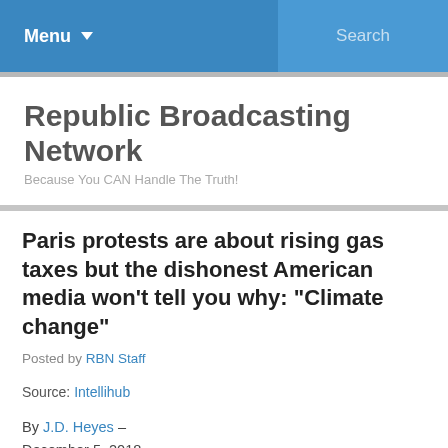Menu  Search
Republic Broadcasting Network
Because You CAN Handle The Truth!
Paris protests are about rising gas taxes but the dishonest American media won’t tell you why: “Climate change”
Posted by RBN Staff
Source: Intellihub
By J.D. Heyes –
December 5, 2018
When POTUS Donald Trump said during his 2016 campaign that, if elected, he would withdraw the United States from the “terrible” Paris